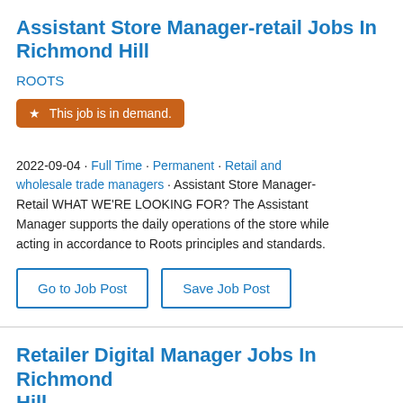Assistant Store Manager-retail Jobs In Richmond Hill
ROOTS
★ This job is in demand.
2022-09-04 · Full Time · Permanent · Retail and wholesale trade managers · Assistant Store Manager-Retail WHAT WE'RE LOOKING FOR? The Assistant Manager supports the daily operations of the store while acting in accordance to Roots principles and standards.
Go to Job Post
Save Job Post
Retailer Digital Manager Jobs In Richmond Hill
Volvo Car Corporation
★ This job is in demand.